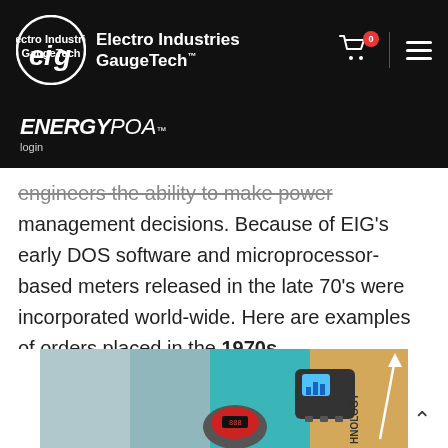Electro Industries GaugeTech™
ENERGYPOA™
login
engineers the ability to make power management decisions. Because of EIG's early DOS software and microprocessor-based meters released in the late 70's were incorporated world-wide. Here are examples of orders placed in the 1970s.
[Figure (photo): Promotional image showing EIG power meters against a teal and warm background with the word HNOLOGY visible on the right side.]